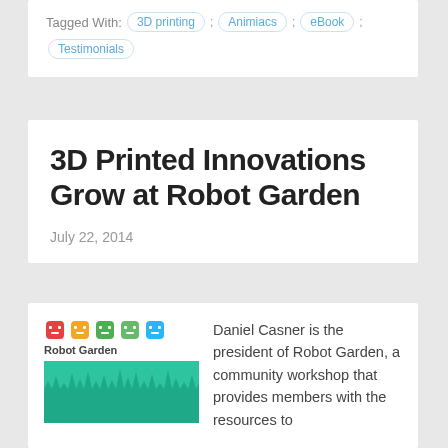Tagged With: 3D printing , Animiacs , eBook , Testimonials
3D Printed Innovations Grow at Robot Garden
July 22, 2014
[Figure (logo): Robot Garden logo with five colored robot face icons and teal grass bar below]
Daniel Casner is the president of Robot Garden, a community workshop that provides members with the resources to